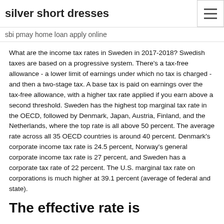silver short dresses
sbi pmay home loan apply online
What are the income tax rates in Sweden in 2017-2018? Swedish taxes are based on a progressive system. There's a tax-free allowance - a lower limit of earnings under which no tax is charged - and then a two-stage tax. A base tax is paid on earnings over the tax-free allowance, with a higher tax rate applied if you earn above a second threshold. Sweden has the highest top marginal tax rate in the OECD, followed by Denmark, Japan, Austria, Finland, and the Netherlands, where the top rate is all above 50 percent. The average rate across all 35 OECD countries is around 40 percent. Denmark's corporate income tax rate is 24.5 percent, Norway's general corporate income tax rate is 27 percent, and Sweden has a corporate tax rate of 22 percent. The U.S. marginal tax rate on corporations is much higher at 39.1 percent (average of federal and state).
The effective rate is